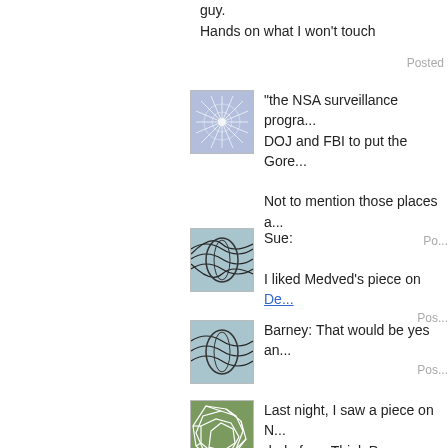guy.
Hands on what I won't touch
Posted
[Figure (illustration): Square avatar with blue/purple star geometric pattern on light blue background]
"the NSA surveillance progra... DOJ and FBI to put the Gore...
Not to mention those places a...
Po...
[Figure (illustration): Square avatar with dark curved lines/lens shapes on light blue background]
Sue:

I liked Medved's piece on De...
Pos...
[Figure (illustration): Square avatar with dark curved lines/lens shapes on light blue background]
Barney: That would be yes an...
Pos...
[Figure (illustration): Square avatar with green Voronoi/cell pattern on olive-green background]
Last night, I saw a piece on N... dude from Think Progress tal...